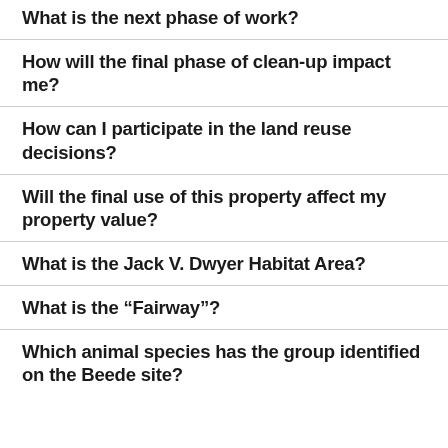What is the next phase of work?
How will the final phase of clean-up impact me?
How can I participate in the land reuse decisions?
Will the final use of this property affect my property value?
What is the Jack V. Dwyer Habitat Area?
What is the “Fairway”?
Which animal species has the group identified on the Beede site?